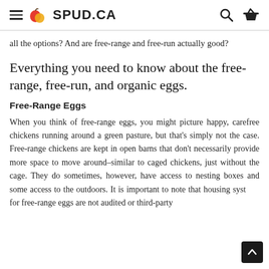≡ 🍎 SPUD.CA [search] [basket]
all the options? And are free-range and free-run actually good?
Everything you need to know about the free-range, free-run, and organic eggs.
Free-Range Eggs
When you think of free-range eggs, you might picture happy, carefree chickens running around a green pasture, but that's simply not the case. Free-range chickens are kept in open barns that don't necessarily provide more space to move around–similar to caged chickens, just without the cage. They do sometimes, however, have access to nesting boxes and some access to the outdoors. It is important to note that housing systems for free-range eggs are not audited or third-party